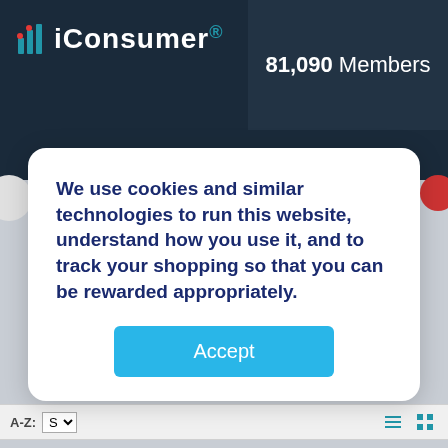iConsumer. 81,090 Members
Top Deals   Owner/Member Log In
We use cookies and similar technologies to run this website, understand how you use it, and to track your shopping so that you can be rewarded appropriately.
Accept
New Stores
A-Z: S